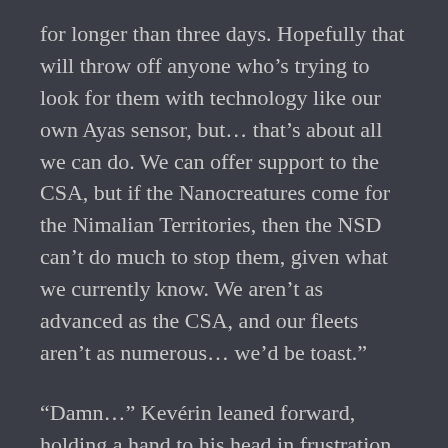for longer than three days. Hopefully that will throw off anyone who’s trying to look for them with technology like our own Ayas sensor, but… that’s about all we can do. We can offer support to the CSA, but if the Nanocreatures come for the Nimalian Territories, then the NSD can’t do much to stop them, given what we currently know. We aren’t as advanced as the CSA, and our fleets aren’t as numerous… we’d be toast.”
“Damn…” Kevérin leaned forward, holding a hand to his head in frustration. “Is there really nothing we can do?”
“News is still incoming, and it’s all chaos,” Nikéyin responded warily. “Everything I know for certain, I’ve already told you. We can’t act without more